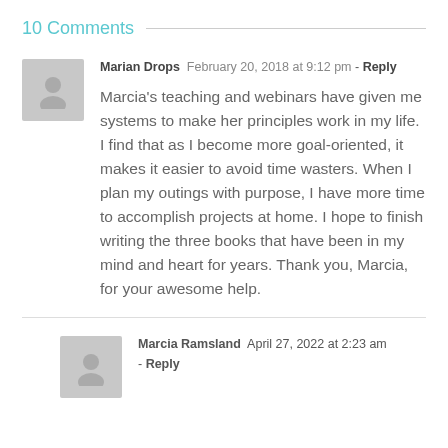10 Comments
Marian Drops  February 20, 2018 at 9:12 pm - Reply
Marcia's teaching and webinars have given me systems to make her principles work in my life. I find that as I become more goal-oriented, it makes it easier to avoid time wasters. When I plan my outings with purpose, I have more time to accomplish projects at home. I hope to finish writing the three books that have been in my mind and heart for years. Thank you, Marcia, for your awesome help.
Marcia Ramsland  April 27, 2022 at 2:23 am - Reply